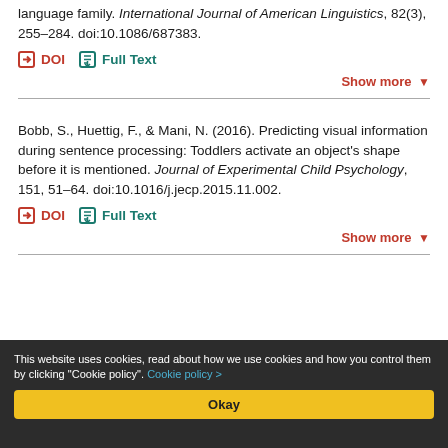language family. International Journal of American Linguistics, 82(3), 255-284. doi:10.1086/687383.
DOI | Full Text
Show more
Bobb, S., Huettig, F., & Mani, N. (2016). Predicting visual information during sentence processing: Toddlers activate an object's shape before it is mentioned. Journal of Experimental Child Psychology, 151, 51-64. doi:10.1016/j.jecp.2015.11.002.
DOI | Full Text
Show more
This website uses cookies, read about how we use cookies and how you control them by clicking "Cookie policy". Cookie policy >